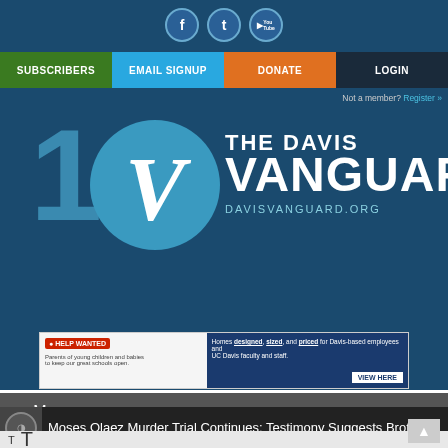[Figure (logo): The Davis Vanguard website header with social media icons (Facebook, Twitter, YouTube), navigation buttons (SUBSCRIBERS, EMAIL SIGNUP, DONATE, LOGIN), 10th anniversary logo with large '1' and teal circle with 'V', site name 'THE DAVIS VANGUARD' and URL 'DAVISVANGUARD.ORG']
Not a member? Register »
[Figure (photo): Advertisement banner: left side shows 'HELP WANTED - Parents of young children and babies to keep our great schools open.' Right side shows 'Homes designed, sized, and priced for Davis-based employees and UC Davis faculty and staff. VIEW HERE']
≡ Menu
Moses Olaez Murder Trial Continues; Testimony Suggests Brothers